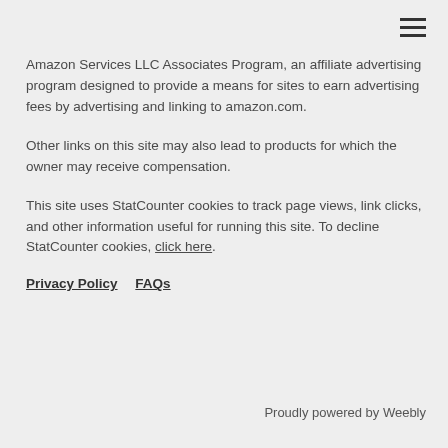Amazon Services LLC Associates Program, an affiliate advertising program designed to provide a means for sites to earn advertising fees by advertising and linking to amazon.com.
Other links on this site may also lead to products for which the owner may receive compensation.
This site uses StatCounter cookies to track page views, link clicks, and other information useful for running this site. To decline StatCounter cookies, click here.
Privacy Policy   FAQs
Proudly powered by Weebly